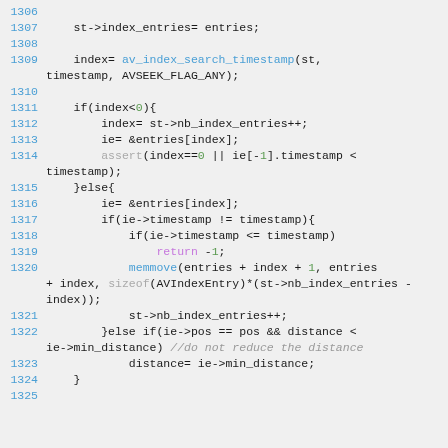Source code lines 1306-1325 showing C code for index entry handling with av_index_search_timestamp, memmove, and related operations.